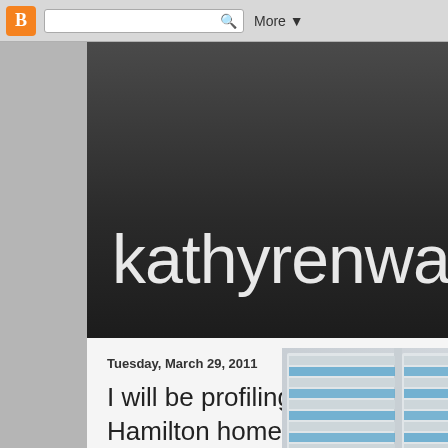Blogger navigation bar with search and More button
kathyrenwald
Tuesday, March 29, 2011
I will be profiling more Hamilton home... Spectator.
[Figure (photo): Photo of window shutters/blinds with blue light coming through, partially visible on right side of page]